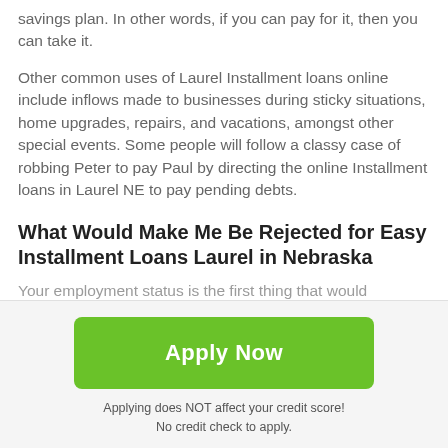savings plan. In other words, if you can pay for it, then you can take it.
Other common uses of Laurel Installment loans online include inflows made to businesses during sticky situations, home upgrades, repairs, and vacations, amongst other special events. Some people will follow a classy case of robbing Peter to pay Paul by directing the online Installment loans in Laurel NE to pay pending debts.
What Would Make Me Be Rejected for Easy Installment Loans Laurel in Nebraska
Your employment status is the first thing that would
[Figure (other): Scroll-to-top button: dark grey rounded square with white upward arrow icon]
Apply Now
Applying does NOT affect your credit score!
No credit check to apply.